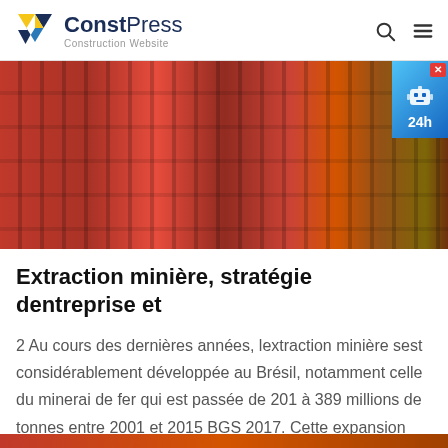ConstPress — Construction Website
[Figure (photo): Industrial mining machinery — red/orange metal equipment with conveyor or crushing mechanism, photographed outdoors. An advertisement badge appears in the top-right corner showing a robot icon and '24h' text.]
Extraction minière, stratégie dentreprise et
2 Au cours des dernières années, lextraction minière sest considérablement développée au Brésil, notamment celle du minerai de fer qui est passée de 201 à 389 millions de tonnes entre 2001 et 2015 BGS 2017. Cette expansion répondait à une demande internationale
BÉNÉFICIER À